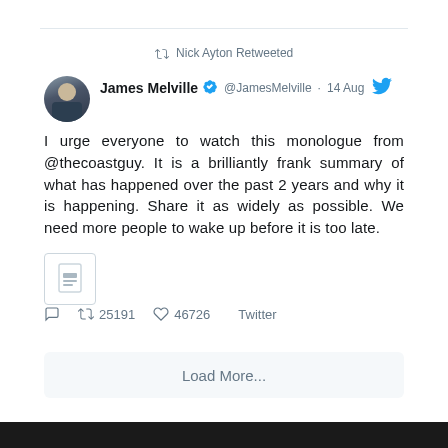Nick Ayton Retweeted
James Melville @JamesMelville · 14 Aug
I urge everyone to watch this monologue from @thecoastguy. It is a brilliantly frank summary of what has happened over the past 2 years and why it is happening. Share it as widely as possible. We need more people to wake up before it is too late.
[Figure (other): Media thumbnail icon (document/image placeholder)]
25191 retweets · 46726 likes · Twitter
Load More...